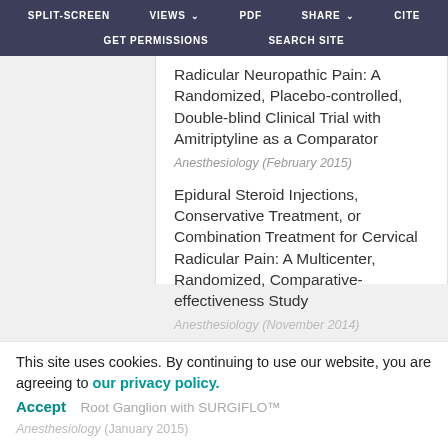SPLIT-SCREEN  VIEWS  PDF  SHARE  CITE  GET PERMISSIONS  SEARCH SITE
Radicular Neuropathic Pain: A Randomized, Placebo-controlled, Double-blind Clinical Trial with Amitriptyline as a Comparator
Anesthesiology (February 2015)
Epidural Steroid Injections, Conservative Treatment, or Combination Treatment for Cervical Radicular Pain: A Multicenter, Randomized, Comparative-effectiveness Study
Anesthesiology (November 2014)
This site uses cookies. By continuing to use our website, you are agreeing to our privacy policy. Accept
Root Ganglion with SURGIFLO™
Anesthesiology (January 2015)